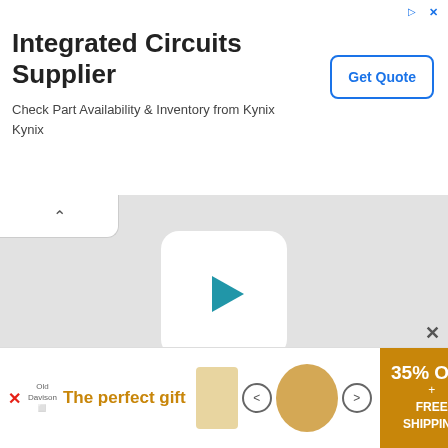[Figure (screenshot): Top advertisement banner for Integrated Circuits Supplier by Kynix, with Get Quote button]
Integrated Circuits Supplier
Check Part Availability & Inventory from Kynix Kynix
[Figure (screenshot): Video player area with play button, YouTube follow link and button on grey background]
Want Video and Sound? Follow us on YouTube
[Figure (screenshot): Bottom advertisement banner: The perfect gift, 35% OFF + FREE SHIPPING]